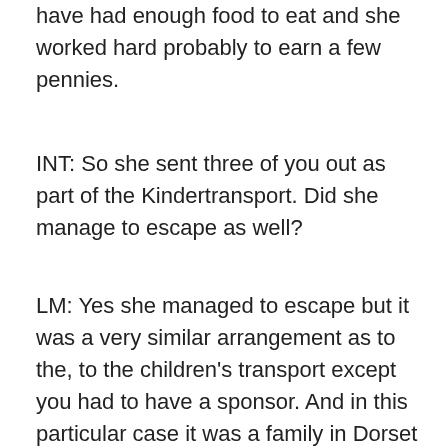have had enough food to eat and she worked hard probably to earn a few pennies.
INT: So she sent three of you out as part of the Kindertransport. Did she manage to escape as well?
LM: Yes she managed to escape but it was a very similar arrangement as to the, to the children's transport except you had to have a sponsor. And in this particular case it was a family in Dorset who decided that they, I think their reasons were much more honourable than just wanting a cook and a maid. I think they wanted to save a couple of